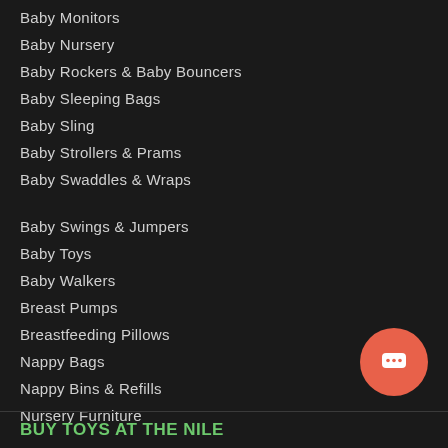Baby Monitors
Baby Nursery
Baby Rockers & Baby Bouncers
Baby Sleeping Bags
Baby Sling
Baby Strollers & Prams
Baby Swaddles & Wraps
Baby Swings & Jumpers
Baby Toys
Baby Walkers
Breast Pumps
Breastfeeding Pillows
Nappy Bags
Nappy Bins & Refills
Nursery Furniture
BUY TOYS AT THE NILE